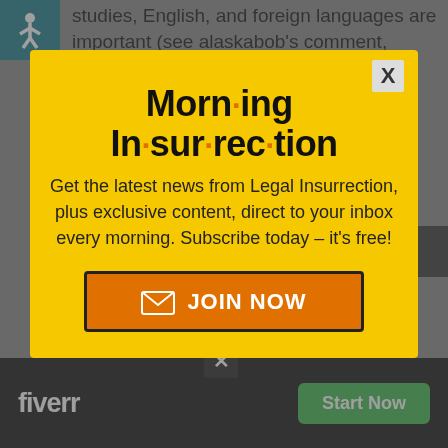studies, English, and foreign languages are important (see alaskabob's comment, above).
[Figure (screenshot): Modal popup for Morning Insurrection newsletter subscription on Legal Insurrection website, with yellow background, bold title 'Morn·ing In·sur·rec·tion', subscription text, and orange JOIN NOW button. Background shows webpage with accessibility icon, partially visible article text, and Fiverr advertisement banner.]
Morn·ing In·sur·rec·tion
Get the latest news from Legal Insurrection, plus exclusive content, direct to your inbox every morning. Subscribe today – it's free!
JOIN NOW
There's a certain balance required. few generations back we didn't expect
fiverr
Start Now